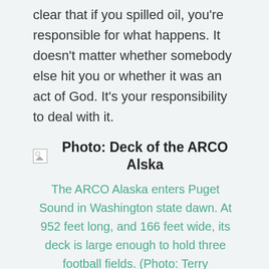clear that if you spilled oil, you're responsible for what happens. It doesn't matter whether somebody else hit you or whether it was an act of God. It's your responsibility to deal with it.
[Figure (photo): Broken image placeholder with label: Photo: Deck of the ARCO Alska]
The ARCO Alaska enters Puget Sound in Washington state dawn. At 952 feet long, and 166 feet wide, its deck is large enough to hold three football fields. (Photo: Terry FitzPatrick)
FITZPATRICK: So far this approach seems